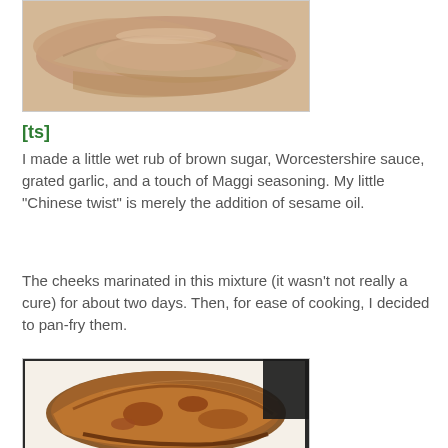[Figure (photo): Raw fish cheeks with marinade on a white plate, close-up view]
[ts]
I made a little wet rub of brown sugar, Worcestershire sauce, grated garlic, and a touch of Maggi seasoning. My little "Chinese twist" is merely the addition of sesame oil.
The cheeks marinated in this mixture (it wasn't not really a cure) for about two days. Then, for ease of cooking, I decided to pan-fry them.
[Figure (photo): Pan-fried fish cheek, browned and caramelized, on a white plate]